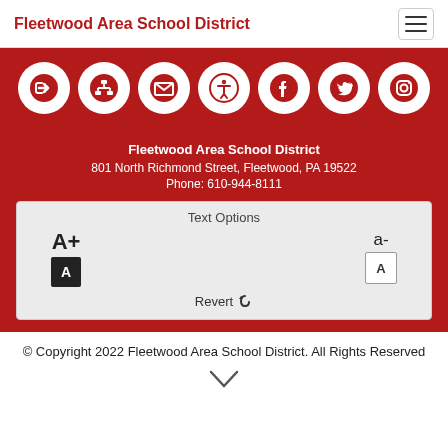Fleetwood Area School District
[Figure (infographic): Red bar with seven white circular icons: login/arrow, org chart, email/envelope, accessibility, Facebook, Twitter, Instagram]
Fleetwood Area School District
801 North Richmond Street, Fleetwood, PA 19522
Phone: 610-944-8111
Text Options
A+ [increase text] a- [decrease text]
Revert
© Copyright 2022 Fleetwood Area School District. All Rights Reserved